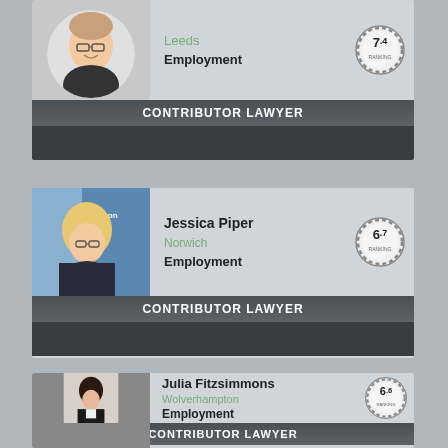[Figure (photo): Headshot of male lawyer with glasses, dark suit, smiling, circular crop on light gray background]
Leeds
Employment
[Figure (other): Circular badge with number 7.4]
CONTRIBUTOR LAWYER
[Figure (photo): Headshot of Jessica Piper, blonde woman with glasses, dark clothing, Ashton KCJ sign in background]
Jessica Piper
Norwich
Employment
[Figure (other): Circular badge with number 6.7]
CONTRIBUTOR LAWYER
[Figure (photo): Headshot of Julia Fitzsimmons, dark-haired woman, black jacket, white top]
Julia Fitzsimmons
Wolverhampton
Employment
[Figure (other): Circular badge with number 6.6]
CONTRIBUTOR LAWYER